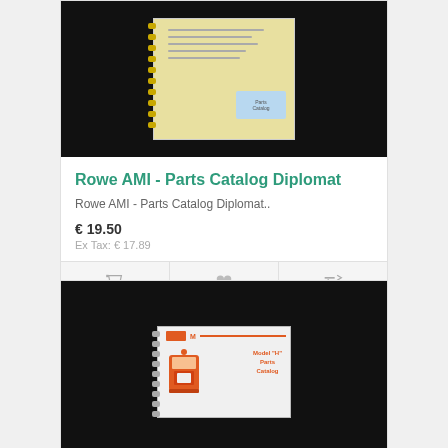[Figure (photo): Yellow spiral-bound parts catalog book on dark background]
Rowe AMI - Parts Catalog Diplomat
Rowe AMI - Parts Catalog Diplomat..
€ 19.50
Ex Tax: € 17.89
[Figure (photo): White spiral-bound parts catalog with orange jukebox illustration and Rowe AMI M model title on dark background]